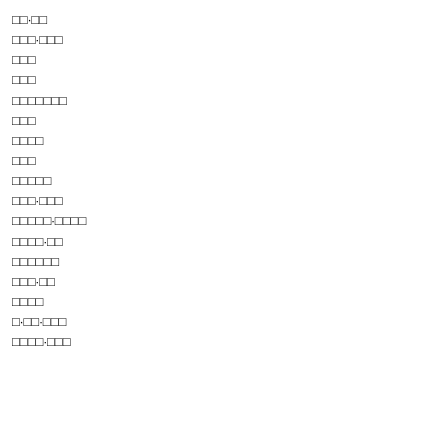□□·□□
□□□·□□□
□□□
□□□
□□□□□□□
□□□
□□□□
□□□
□□□□□
□□□·□□□
□□□□□·□□□□
□□□□·□□
□□□□□□
□□□·□□
□□□□
□·□□·□□□
□□□□·□□□